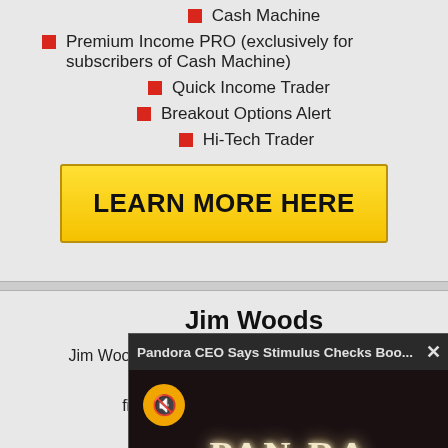Cash Machine
Premium Income PRO (exclusively for subscribers of Cash Machine)
Quick Income Trader
Breakout Options Alert
Hi-Tech Trader
[Figure (other): Yellow button with bold text: LEARN MORE HERE]
Jim Woods
Jim Woods has over 20 years of experience working as a financial journalist, and more... and r... numerous investm...
[Figure (screenshot): Video popup overlay showing 'Pandora CEO Says Stimulus Checks Boo...' with a Pandora store sign illuminated at night, mute button, and scroll button]
Pr